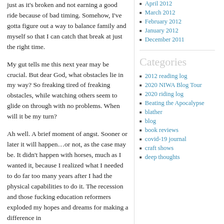just as it’s broken and not earning a good ride because of bad timing. Somehow, I’ve gotta figure out a way to balance family and myself so that I can catch that break at just the right time.
My gut tells me this next year may be crucial. But dear God, what obstacles lie in my way? So freaking tired of freaking obstacles, while watching others seem to glide on through with no problems. When will it be my turn?
Ah well. A brief moment of angst. Sooner or later it will happen…or not, as the case may be. It didn’t happen with horses, much as I wanted it, because I realized what I needed to do far too many years after I had the physical capabilities to do it. The recession and those fucking education reformers exploded my hopes and dreams for making a difference in
April 2012
March 2012
February 2012
January 2012
December 2011
Categories
2012 reading log
2020 NIWA Blog Tour
2020 riding log
Beating the Apocalypse
blather
blog
book reviews
covid-19 journal
craft shows
deep thoughts